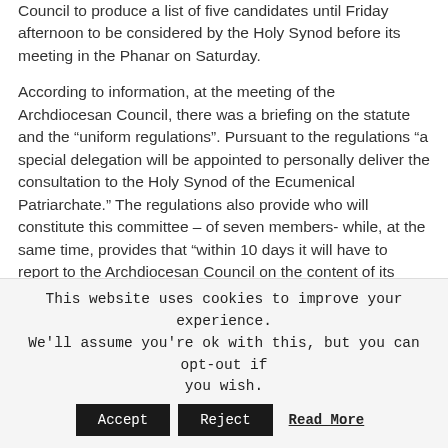Council to produce a list of five candidates until Friday afternoon to be considered by the Holy Synod before its meeting in the Phanar on Saturday.
According to information, at the meeting of the Archdiocesan Council, there was a briefing on the statute and the “uniform regulations”. Pursuant to the regulations “a special delegation will be appointed to personally deliver the consultation to the Holy Synod of the Ecumenical Patriarchate.” The regulations also provide who will constitute this committee – of seven members- while, at the same time, provides that “within 10 days it will have to report to the Archdiocesan Council on the content of its talks with the Ecumenical Patriarchate and the results.”
This website uses cookies to improve your experience. We'll assume you're ok with this, but you can opt-out if you wish. Accept Reject Read More